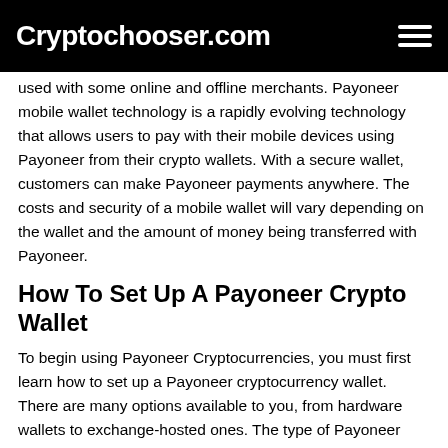Cryptochooser.com
used with some online and offline merchants. Payoneer mobile wallet technology is a rapidly evolving technology that allows users to pay with their mobile devices using Payoneer from their crypto wallets. With a secure wallet, customers can make Payoneer payments anywhere. The costs and security of a mobile wallet will vary depending on the wallet and the amount of money being transferred with Payoneer.
How To Set Up A Payoneer Crypto Wallet
To begin using Payoneer Cryptocurrencies, you must first learn how to set up a Payoneer cryptocurrency wallet. There are many options available to you, from hardware wallets to exchange-hosted ones. The type of Payoneer Crypto wallet you use will depend on your needs and desired level of security. To protect your money, make sure you keep your private key secure. If someone knows your private key, they can control your Payoneer crypto funds. To protect yourself, you should only store your private key in a secure wallet.
Once you have chosen a wallet type that accepts Payoneer, you